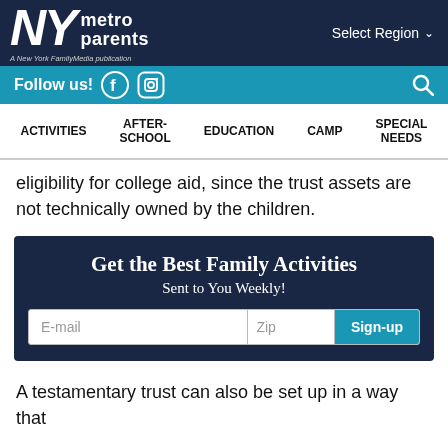[Figure (logo): NY Metro Parents logo on dark navy background with 'Select Region' dropdown on the right]
Follow us! [Facebook icon] [Instagram icon] [Search icon]
ACTIVITIES | AFTER-SCHOOL | EDUCATION | CAMP | SPECIAL NEEDS
eligibility for college aid, since the trust assets are not technically owned by the children.
[Figure (infographic): Newsletter signup box: 'Get the Best Family Activities Sent to You Weekly!' with E-mail, Zip, and Sign-up fields]
A testamentary trust can also be set up in a way that